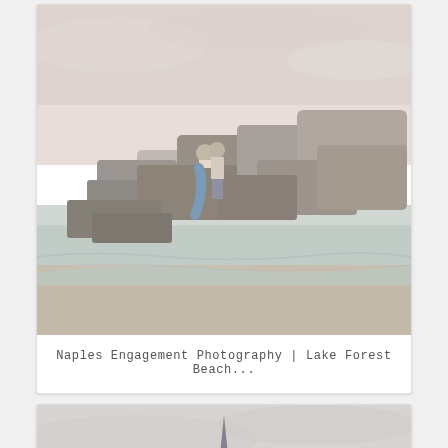[Figure (photo): Engagement photo of a couple standing on large rocky boulders near water at a beach. The woman wears a blue skirt. Overcast sky in background. Sandy shore in foreground with calm water reflecting the rocks.]
Naples Engagement Photography | Lake Forest Beach...
[Figure (photo): Partial photo showing a tall building or tower (appears to be a skyscraper/antenna structure) against a pale overcast sky, with water visible at the bottom. Image is cropped at the bottom of the page.]